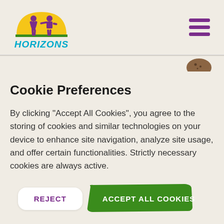[Figure (logo): Horizons organization logo with yellow sun/arc and purple silhouettes of two children holding hands, with teal 'HORIZONS' text below]
Cookie Preferences
By clicking "Accept All Cookies", you agree to the storing of cookies and similar technologies on your device to enhance site navigation, analyze site usage, and offer certain functionalities. Strictly necessary cookies are always active.
REJECT
ACCEPT ALL COOKIES